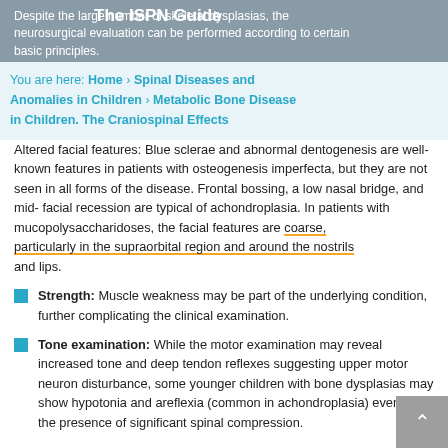The ISPN Guide
Despite the large number of skeletal dysplasias, the neurosurgical evaluation can be performed according to certain basic principles.
You are here: Home > Spinal Diseases and Anomalies in Children > Metabolic Bone Disease in Children. The Craniospinal Effects
Altered facial features: Blue sclerae and abnormal dentogenesis are well-known features in patients with osteogenesis imperfecta, but they are not seen in all forms of the disease. Frontal bossing, a low nasal bridge, and mid-facial recession are typical of achondroplasia. In patients with mucopolysaccharidoses, the facial features are coarse, particularly in the supraorbital region and around the nostrils and lips.
Strength: Muscle weakness may be part of the underlying condition, further complicating the clinical examination.
Tone examination: While the motor examination may reveal increased tone and deep tendon reflexes suggesting upper motor neuron disturbance, some younger children with bone dysplasias may show hypotonia and areflexia (common in achondroplasia) even in the presence of significant spinal compression.